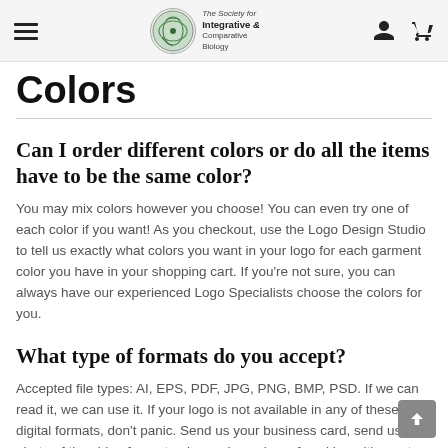Society for Integrative & Comparative Biology — navigation header
Colors
Can I order different colors or do all the items have to be the same color?
You may mix colors however you choose! You can even try one of each color if you want! As you checkout, use the Logo Design Studio to tell us exactly what colors you want in your logo for each garment color you have in your shopping cart. If you're not sure, you can always have our experienced Logo Specialists choose the colors for you.
What type of formats do you accept?
Accepted file types: AI, EPS, PDF, JPG, PNG, BMP, PSD. If we can read it, we can use it. If your logo is not available in any of these digital formats, don't panic. Send us your business card, send us a photo of the side of your truck, send us a box of cookies with a note attached to it (We'd prefer chocolate chip, please.)